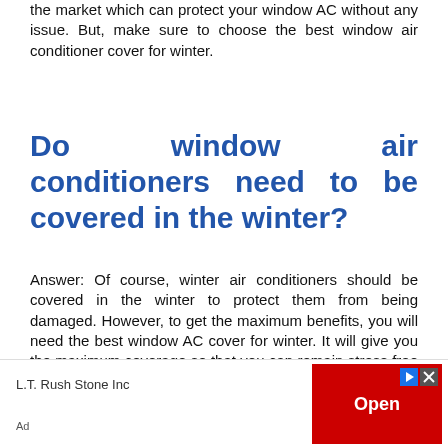the market which can protect your window AC without any issue. But, make sure to choose the best window air conditioner cover for winter.
Do window air conditioners need to be covered in the winter?
Answer: Of course, winter air conditioners should be covered in the winter to protect them from being damaged. However, to get the maximum benefits, you will need the best window AC cover for winter. It will give you the maximum coverage so that you can remain stress free with your unit.
[Figure (other): Advertisement banner for L.T. Rush Stone Inc with a red Open button]